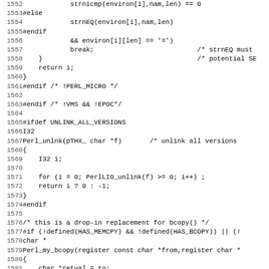[Figure (screenshot): Source code listing (C/Perl source) with line numbers 1552–1584, showing preprocessor directives, function definitions, and C code for environment variable lookup and bcopy replacement.]